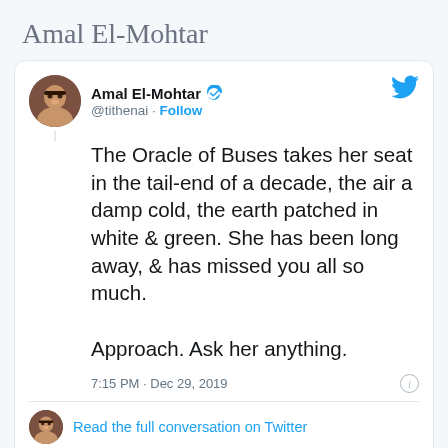Amal El-Mohtar
[Figure (screenshot): Screenshot of a tweet by Amal El-Mohtar (@tithenai) posted at 7:15 PM Dec 29, 2019. The tweet reads: The Oracle of Buses takes her seat in the tail-end of a decade, the air a damp cold, the earth patched in white & green. She has been long away, & has missed you all so much. Approach. Ask her anything. With 189 likes. Includes Read the full conversation on Twitter link.]